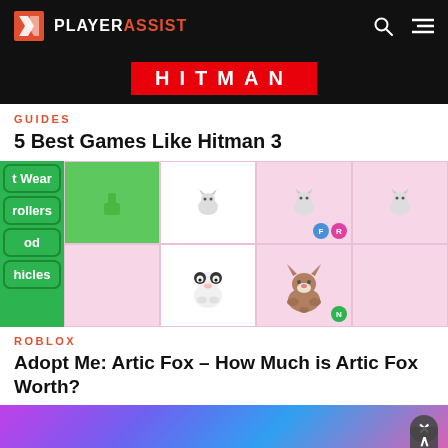PLAYERASSIST
[Figure (screenshot): Hitman game banner with red background and HITMAN text]
GUIDES
5 Best Games Like Hitman 3
[Figure (screenshot): Roblox Adopt Me game screenshot showing a panda, arctic fox, and cats with green menu buttons on the left (Pet Wear, Strollers, Food, Vehicles)]
ROBLOX
Adopt Me: Artic Fox – How Much is Artic Fox Worth?
[Figure (screenshot): Colorful blurred background image for a third article]
[Figure (other): Ulta Beauty advertisement banner with SHOP NOW text]